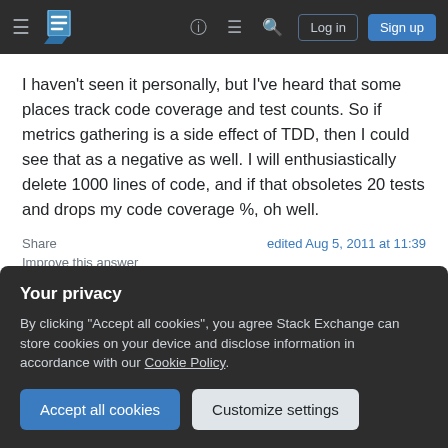Stack Exchange navigation bar with hamburger menu, logo, help, chat, search icons, Log in and Sign up buttons
I haven't seen it personally, but I've heard that some places track code coverage and test counts. So if metrics gathering is a side effect of TDD, then I could see that as a negative as well. I will enthusiastically delete 1000 lines of code, and if that obsoletes 20 tests and drops my code coverage %, oh well.
Share | edited Aug 5, 2011 at 11:39
Improve this answer
Your privacy
By clicking "Accept all cookies", you agree Stack Exchange can store cookies on your device and disclose information in accordance with our Cookie Policy.
Accept all cookies   Customize settings